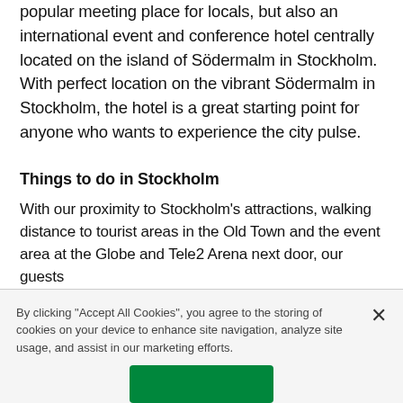popular meeting place for locals, but also an international event and conference hotel centrally located on the island of Södermalm in Stockholm. With perfect location on the vibrant Södermalm in Stockholm, the hotel is a great starting point for anyone who wants to experience the city pulse.
Things to do in Stockholm
With our proximity to Stockholm's attractions, walking distance to tourist areas in the Old Town and the event area at the Globe and Tele2 Arena next door, our guests
By clicking "Accept All Cookies", you agree to the storing of cookies on your device to enhance site navigation, analyze site usage, and assist in our marketing efforts.